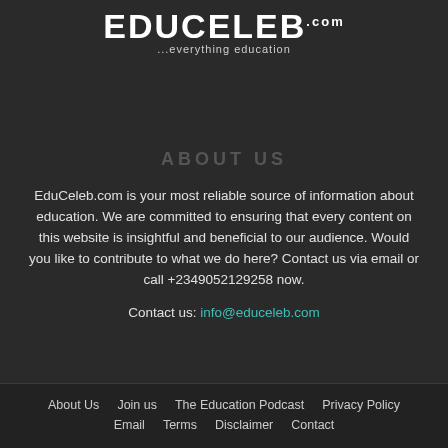[Figure (logo): EduCeleb.com logo with tagline '...everything education' on dark background]
ABOUT US
EduCeleb.com is your most reliable source of information about education. We are committed to ensuring that every content on this website is insightful and beneficial to our audience. Would you like to contribute to what we do here? Contact us via email or call +2349052129258 now.
Contact us: info@educeleb.com
About Us  Join us  The Education Podcast  Privacy Policy  Email  Terms  Disclaimer  Contact